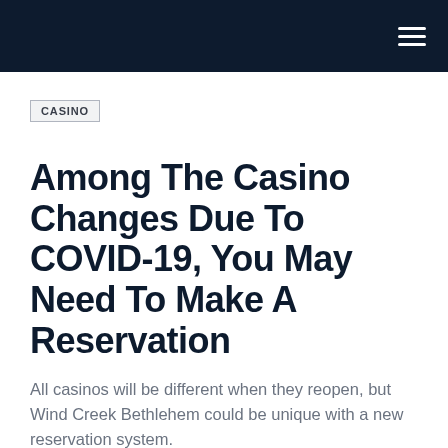CASINO
Among The Casino Changes Due To COVID-19, You May Need To Make A Reservation
All casinos will be different when they reopen, but Wind Creek Bethlehem could be unique with a new reservation system.
Gary Rotstein | Published: May 6, 2020